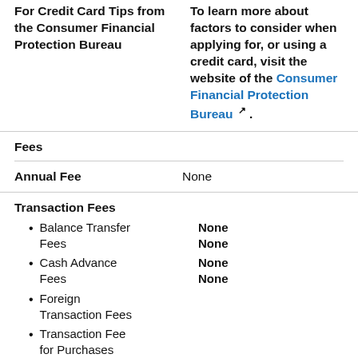For Credit Card Tips from the Consumer Financial Protection Bureau
To learn more about factors to consider when applying for, or using a credit card, visit the website of the Consumer Financial Protection Bureau.
Fees
| Annual Fee |  |
| --- | --- |
| Annual Fee | None |
Transaction Fees
Balance Transfer Fees
Cash Advance Fees
Foreign Transaction Fees
Transaction Fee for Purchases
Penalty Fees